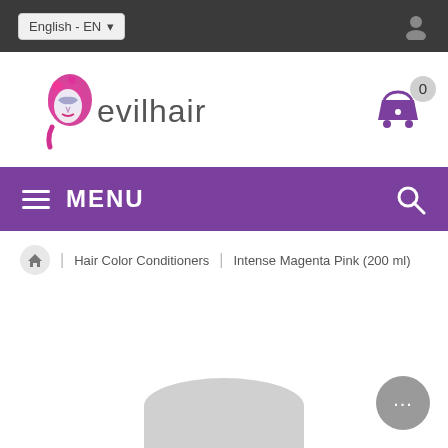English - EN
[Figure (logo): Evilhair brand logo with stylized magenta hair figure and 'evilhair' text]
[Figure (infographic): Shopping cart icon with badge showing 0]
MENU
Hair Color Conditioners | Intense Magenta Pink (200 ml)